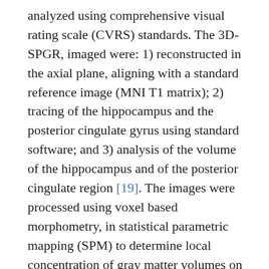analyzed using comprehensive visual rating scale (CVRS) standards. The 3D-SPGR, imaged were: 1) reconstructed in the axial plane, aligning with a standard reference image (MNI T1 matrix); 2) tracing of the hippocampus and the posterior cingulate gyrus using standard software; and 3) analysis of the volume of the hippocampus and of the posterior cingulate region [19]. The images were processed using voxel based morphometry, in statistical parametric mapping (SPM) to determine local concentration of gray matter volumes on a voxel-by-voxel basis [20].
SPECT determinations
The SPECT study was carried out according to the usual protocol of each center to determine possible variations in brain hypoperfusion. A gamma camera with two detectors with low-energy, high-resolution collimators and parallel orifices was used. The tracer